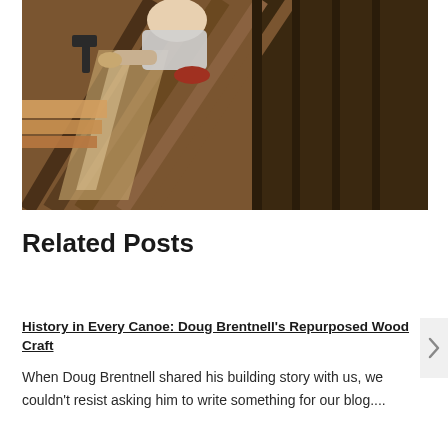[Figure (photo): Person kneeling on wooden floor planks, working with a tool on wood flooring installation or refinishing. Dark and light wood tones visible across the floor.]
Related Posts
History in Every Canoe: Doug Brentnell's Repurposed Wood Craft
When Doug Brentnell shared his building story with us, we couldn't resist asking him to write something for our blog....